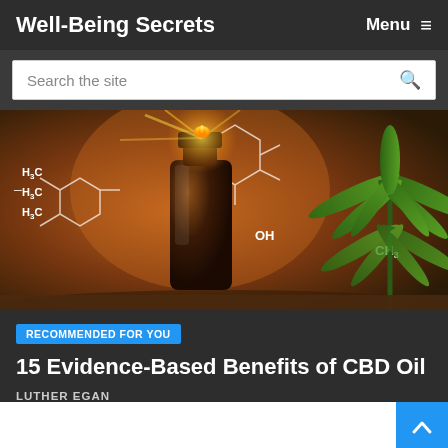Well-Being Secrets   Menu ≡
Search the site
[Figure (photo): CBD oil amber bottle with golden drop glowing, chemical structure hexagonal overlay lines, cannabis plant in background, warm brown tones]
RECOMMENDED FOR YOU
15 Evidence-Based Benefits of CBD Oil
LUTHER EGAN